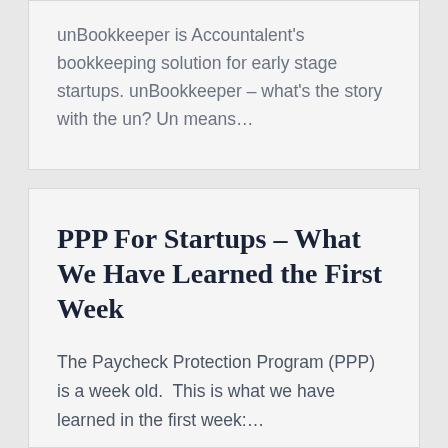unBookkeeper is Accountalent's bookkeeping solution for early stage startups. unBookkeeper – what's the story with the un? Un means…
PPP For Startups – What We Have Learned the First Week
The Paycheck Protection Program (PPP) is a week old.  This is what we have learned in the first week:…